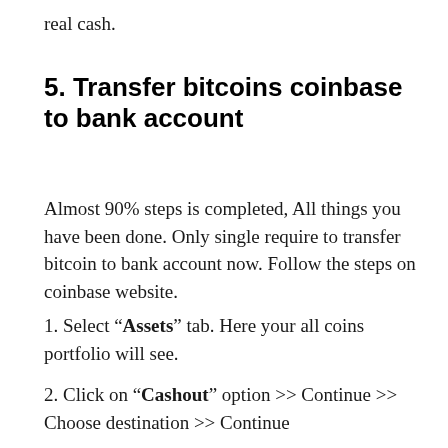real cash.
5. Transfer bitcoins coinbase to bank account
Almost 90% steps is completed, All things you have been done. Only single require to transfer bitcoin to bank account now. Follow the steps on coinbase website.
1. Select “Assets” tab. Here your all coins portfolio will see.
2. Click on “Cashout” option >> Continue >> Choose destination >> Continue